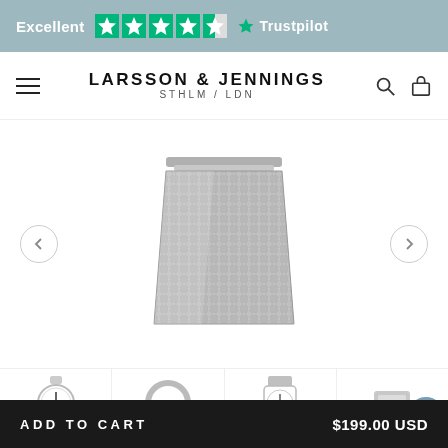[Figure (screenshot): Trustpilot banner showing Excellent rating with 4.5 green stars and Trustpilot logo on grey-blue background]
[Figure (screenshot): Larsson & Jennings STHLM/LDN navigation bar with hamburger menu, brand name centered, search and bag icons]
[Figure (photo): Silver mesh watch bracelet/strap product photo on white background]
[Figure (photo): Thumbnail strip showing four product images: a round watch, a ring/bracelet, a watch with mesh band, and a silver accessory]
ADD TO CART
$199.00 USD